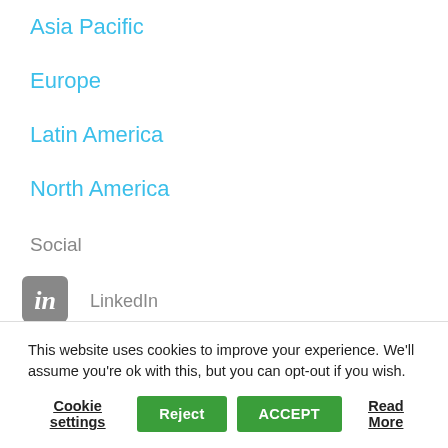Asia Pacific
Europe
Latin America
North America
Social
LinkedIn
Facebook
Twitter
This website uses cookies to improve your experience. We'll assume you're ok with this, but you can opt-out if you wish.
Cookie settings | Reject | ACCEPT | Read More